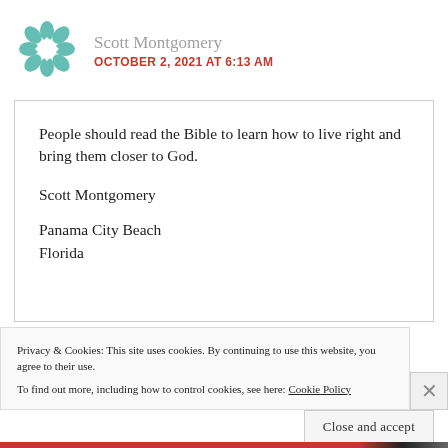[Figure (logo): Teal geometric cross/flower pattern logo icon]
Scott Montgomery
OCTOBER 2, 2021 AT 6:13 AM
People should read the Bible to learn how to live right and bring them closer to God.

Scott Montgomery

Panama City Beach
Florida
Privacy & Cookies: This site uses cookies. By continuing to use this website, you agree to their use.
To find out more, including how to control cookies, see here: Cookie Policy
Close and accept